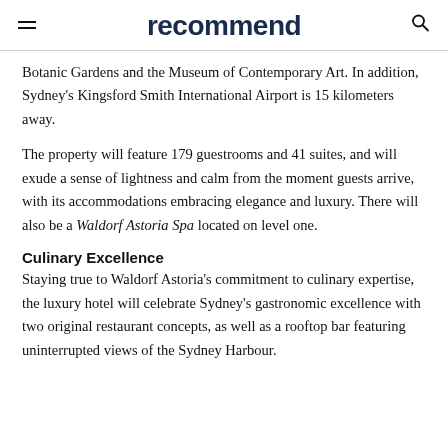recommend
Botanic Gardens and the Museum of Contemporary Art. In addition, Sydney's Kingsford Smith International Airport is 15 kilometers away.
The property will feature 179 guestrooms and 41 suites, and will exude a sense of lightness and calm from the moment guests arrive, with its accommodations embracing elegance and luxury. There will also be a Waldorf Astoria Spa located on level one.
Culinary Excellence
Staying true to Waldorf Astoria's commitment to culinary expertise, the luxury hotel will celebrate Sydney's gastronomic excellence with two original restaurant concepts, as well as a rooftop bar featuring uninterrupted views of the Sydney Harbour.